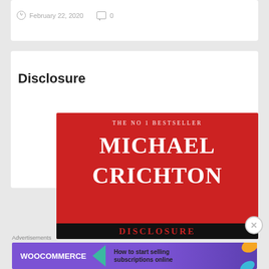February 22, 2020   0
Disclosure
[Figure (photo): Book cover of 'Disclosure' by Michael Crichton — red cover with white serif text reading 'THE NO 1 BESTSELLER', 'MICHAEL CRICHTON', and the title 'DISCLOSURE' at the bottom on a dark strip.]
Advertisements
[Figure (screenshot): WooCommerce advertisement banner with purple background, teal arrow, and text 'How to start selling subscriptions online']